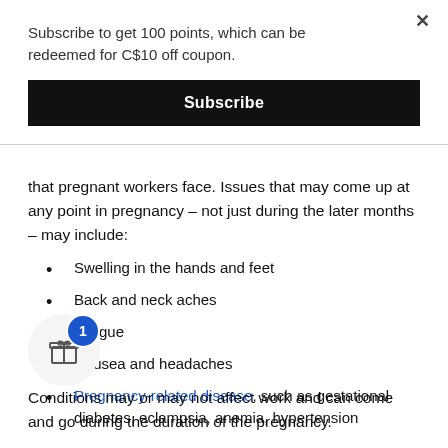Subscribe to get 100 points, which can be redeemed for C$10 off coupon.
Subscribe
that pregnant workers face. Issues that may come up at any point in pregnancy – not just during the later months – may include:
Swelling in the hands and feet
Back and neck aches
Fatigue
Nausea and headaches
Pregnancy-related disease, such as gestational diabetes, eclampsia, anemia, hypertension
Conditions may or may not affect work and can come and go during the duration of the pregnancy.